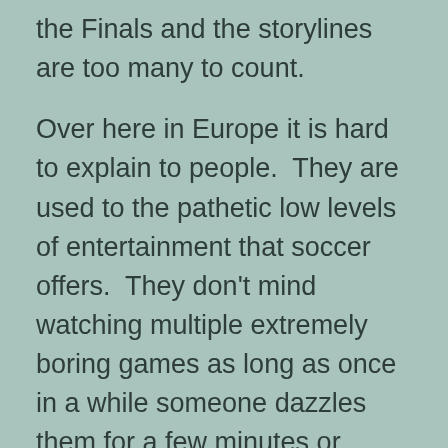the Finals and the storylines are too many to count.
Over here in Europe it is hard to explain to people.  They are used to the pathetic low levels of entertainment that soccer offers.  They don't mind watching multiple extremely boring games as long as once in a while someone dazzles them for a few minutes or scores a goal once every forty minutes.  They put up with rigged matches and applaud Juventus, happily forgetting the unbelievable scandals that sent that very same team out of the picture a few years ago.